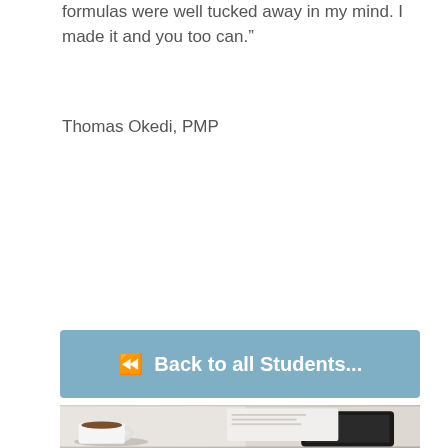formulas were well tucked away in my mind. I made it and you too can.”
Thomas Okedi, PMP
⏪ Back to all Students...
[Figure (photo): Photo showing a coffee cup and a tablet device on a light surface]